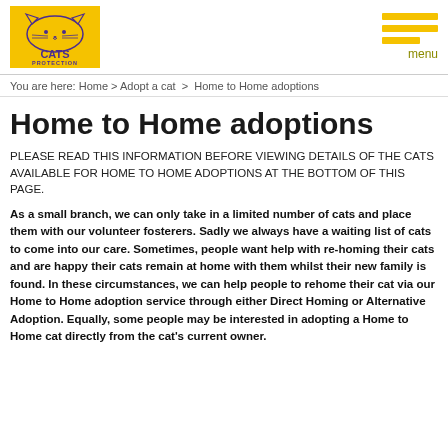[Figure (logo): Cats Protection logo: yellow background with cat illustration and 'CATS PROTECTION' text in purple]
menu
You are here: Home > Adopt a cat > Home to Home adoptions
Home to Home adoptions
PLEASE READ THIS INFORMATION BEFORE VIEWING DETAILS OF THE CATS AVAILABLE FOR HOME TO HOME ADOPTIONS AT THE BOTTOM OF THIS PAGE.
As a small branch, we can only take in a limited number of cats and place them with our volunteer fosterers. Sadly we always have a waiting list of cats to come into our care. Sometimes, people want help with re-homing their cats and are happy their cats remain at home with them whilst their new family is found. In these circumstances, we can help people to rehome their cat via our Home to Home adoption service through either Direct Homing or Alternative Adoption. Equally, some people may be interested in adopting a Home to Home cat directly from the cat's current owner.